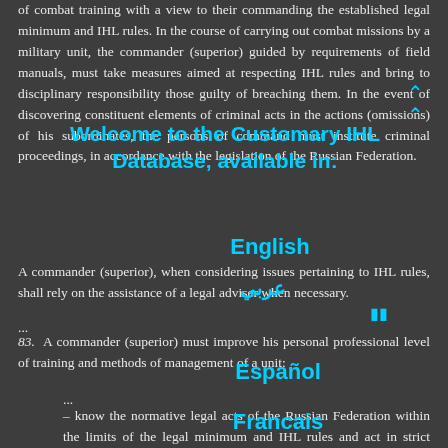of combat training with a view to their commanding the established legal minimum and IHL rules. In the course of carrying out combat missions by a military unit, the commander (superior) guided by requirements of field manuals, must take measures aimed at respecting IHL rules and bring to disciplinary responsibility those guilty of breaching them. In the event of discovering constituent elements of criminal acts in the actions (omissions) of his subordinates, the persons of command must institute criminal proceedings, in accordance with the legislation of the Russian Federation.
A commander (superior), when considering issues pertaining to IHL rules, shall rely on the assistance of a legal adviser when necessary.
...
83. A commander (superior) must improve his personal professional level of training and methods of management of a unit:
...
– know the normative legal acts of the Russian Federation within the limits of the legal minimum and IHL rules and act in strict compliance therewith, and to demand that his